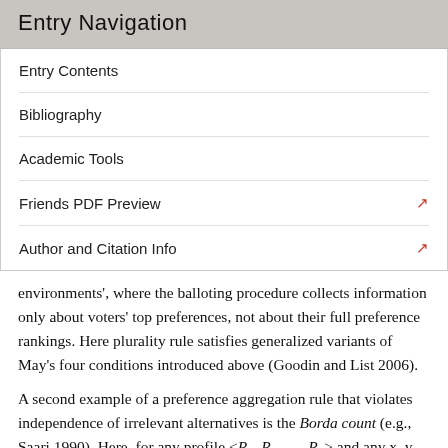Entry Navigation
Entry Contents
Bibliography
Academic Tools
Friends PDF Preview
Author and Citation Info
environments', where the balloting procedure collects information only about voters' top preferences, not about their full preference rankings. Here plurality rule satisfies generalized variants of May's four conditions introduced above (Goodin and List 2006).
A second example of a preference aggregation rule that violates independence of irrelevant alternatives is the Borda count (e.g., Saari 1990). Here, for any profile <R1, R2, …, Rn> and any x, y ∈ X, xRy if and only if Σi∈N|{z ∈ X : xRiz}| ≥ Σi∈N|{z ∈ X : yRiz}|. Informally, each voter